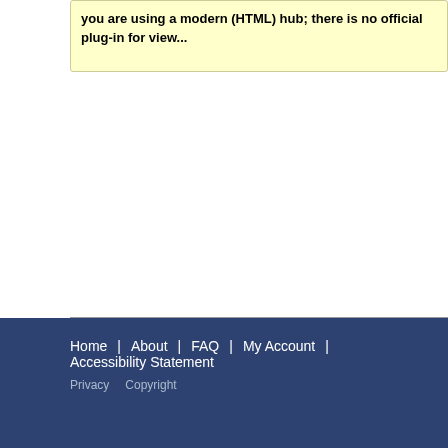you are using a modern (HTML) hub; there is no official plug-in for view...
Home | About | FAQ | My Account | Accessibility Statement Privacy Copyright